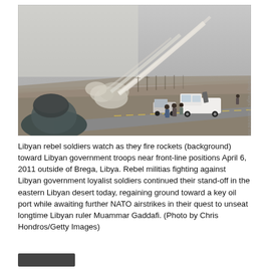[Figure (photo): Libyan rebel soldiers watching rockets being fired (smoke trails visible in background) near front-line positions outside Brega, Libya, April 6, 2011. Several people stand near a white pickup truck on a road. A soldier in foreground is blurred. Getty Images watermark visible on right edge.]
Libyan rebel soldiers watch as they fire rockets (background) toward Libyan government troops near front-line positions April 6, 2011 outside of Brega, Libya. Rebel militias fighting against Libyan government loyalist soldiers continued their stand-off in the eastern Libyan desert today, regaining ground toward a key oil port while awaiting further NATO airstrikes in their quest to unseat longtime Libyan ruler Muammar Gaddafi. (Photo by Chris Hondros/Getty Images)